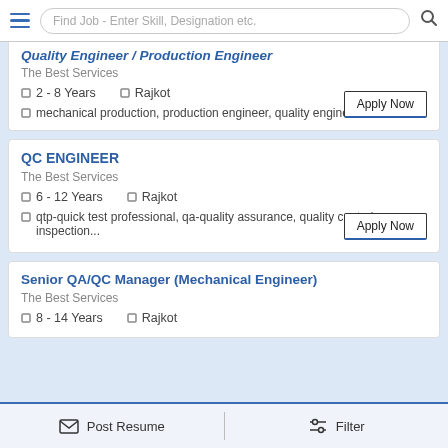Find Job - Enter Skill, Designation etc.
Quality Engineer / Production Engineer
The Best Services
2 - 8 Years  Rajkot
mechanical production, production engineer, quality engineer
QC ENGINEER
The Best Services
6 - 12 Years  Rajkot
qtp-quick test professional, qa-quality assurance, quality control, inspection...
Senior QA/QC Manager (Mechanical Engineer)
The Best Services
8 - 14 Years  Rajkot
Post Resume    Filter